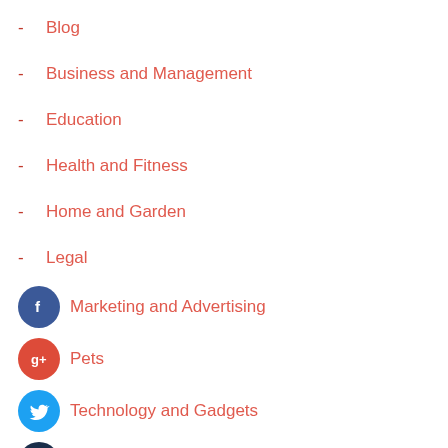Blog
Business and Management
Education
Health and Fitness
Home and Garden
Legal
Marketing and Advertising
Pets
Technology and Gadgets
Travel and Leisure